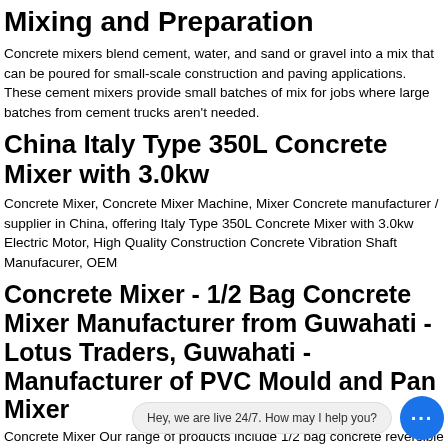Mixing and Preparation
Concrete mixers blend cement, water, and sand or gravel into a mix that can be poured for small-scale construction and paving applications. These cement mixers provide small batches of mix for jobs where large batches from cement trucks aren't needed.
China Italy Type 350L Concrete Mixer with 3.0kw
Concrete Mixer, Concrete Mixer Machine, Mixer Concrete manufacturer / supplier in China, offering Italy Type 350L Concrete Mixer with 3.0kw Electric Motor, High Quality Construction Concrete Vibration Shaft Manufacurer, OEM
Concrete Mixer - 1/2 Bag Concrete Mixer Manufacturer from Guwahati - Lotus Traders, Guwahati - Manufacturer of PVC Mould and Pan Mixer
Concrete Mixer Our range of products include 1/2 bag concrete reversible concrete mixer, mixer with lift mechanical clutch type 01